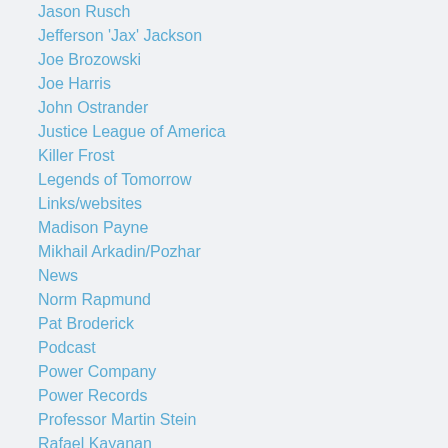Jason Rusch
Jefferson 'Jax' Jackson
Joe Brozowski
Joe Harris
John Ostrander
Justice League of America
Killer Frost
Legends of Tomorrow
Links/websites
Madison Payne
Mikhail Arkadin/Pozhar
News
Norm Rapmund
Pat Broderick
Podcast
Power Company
Power Records
Professor Martin Stein
Rafael Kayanan
Robbie Amell
Rodin Rodriguez
Rogues Gallery
Ronnie Raymond